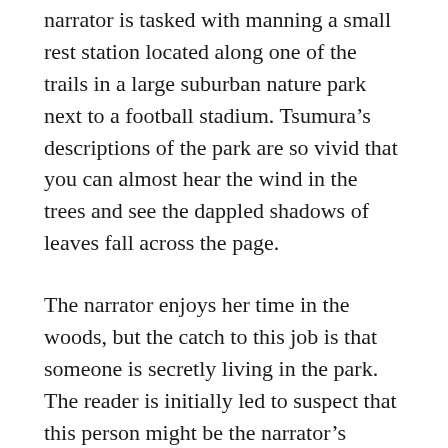narrator is tasked with manning a small rest station located along one of the trails in a large suburban nature park next to a football stadium. Tsumura's descriptions of the park are so vivid that you can almost hear the wind in the trees and see the dappled shadows of leaves fall across the page.
The narrator enjoys her time in the woods, but the catch to this job is that someone is secretly living in the park. The reader is initially led to suspect that this person might be the narrator's supervisor, who seems to be hiding some sort of secret. As the story progresses, the reader realizes that the supervisor almost certainly knows about the situation, and that he more